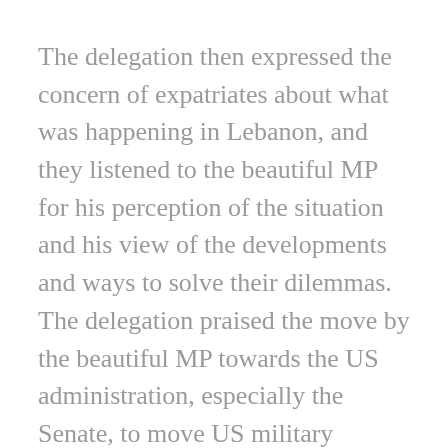The delegation then expressed the concern of expatriates about what was happening in Lebanon, and they listened to the beautiful MP for his perception of the situation and his view of the developments and ways to solve their dilemmas. The delegation praised the move by the beautiful MP towards the US administration, especially the Senate, to move US military assistance to the Lebanese Army.
The delegation explained to the beautiful